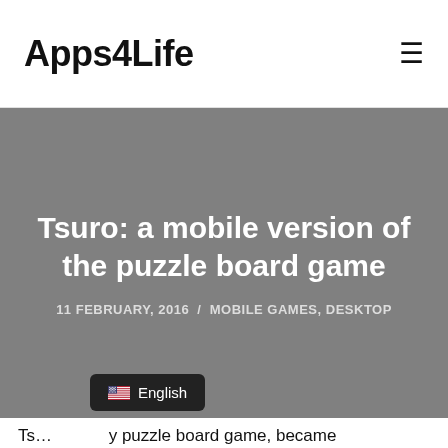Apps4Life
Tsuro: a mobile version of the puzzle board game
11 FEBRUARY, 2016  /  MOBILE GAMES, DESKTOP
Ts… y puzzle board game, became